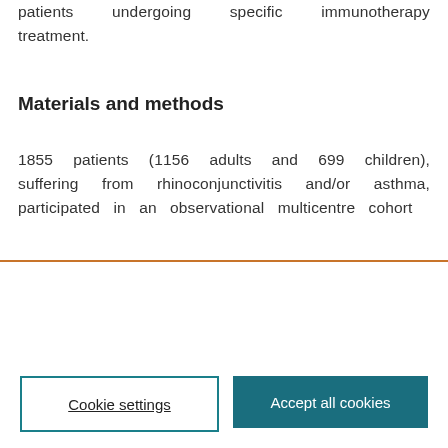patients undergoing specific immunotherapy treatment.
Materials and methods
1855 patients (1156 adults and 699 children), suffering from rhinoconjunctivitis and/or asthma, participated in an observational multicentre cohort
We use cookies that are necessary to make our site work. We may also use additional cookies to analyze, improve, and personalize our content and your digital experience. For more information, see our Cookie Policy
Cookie settings
Accept all cookies